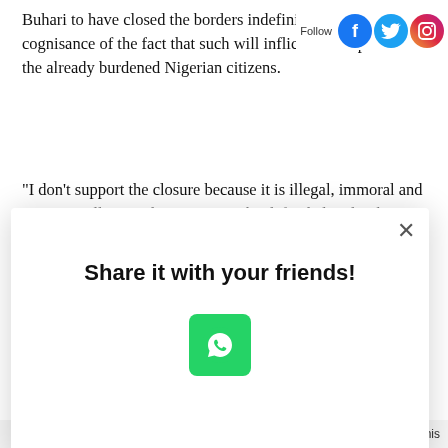Buhari to have closed the borders indefinitely without taking cognisance of the fact that such will inflict serious pain on the already burdened Nigerian citizens.
“I don’t support the closure because it is illegal, immoral and economically senseless. It cannot be defended under the ECOWAS Protocol on Free Movement of Persons and Goods. Punishing millions of community citizens for the
[Figure (screenshot): Social share modal dialog with 'Share it with your friends!' heading and WhatsApp share button, overlaid on article text. Modal has a close (x) button. AddThis branding in bottom right.]
the land border between Nigeria and Benin Republic for